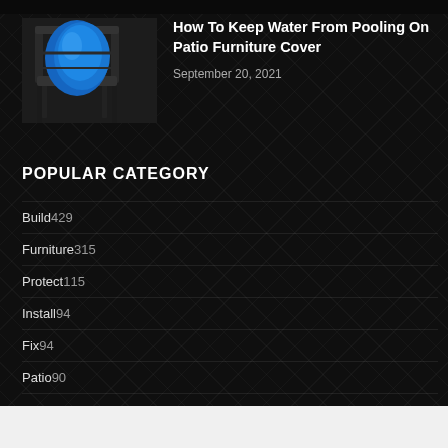[Figure (photo): Patio chair with blue cover/cushion]
How To Keep Water From Pooling On Patio Furniture Cover
September 20, 2021
POPULAR CATEGORY
Build429
Furniture315
Protect115
Install94
Fix94
Patio90